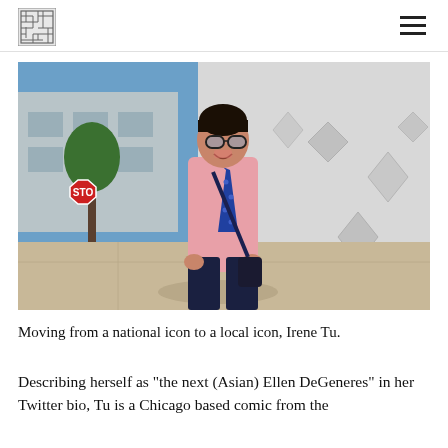[Logo] [Navigation menu icon]
[Figure (photo): A person wearing a pink button-up shirt and dark blue polka-dot tie, with round mirrored sunglasses, smiling and standing on a sidewalk in front of a white geometric mural wall. A stop sign is visible on the left side. Bright sunny day outdoors.]
Moving from a national icon to a local icon, Irene Tu.
Describing herself as "the next (Asian) Ellen DeGeneres" in her Twitter bio, Tu is a Chicago based comic from the